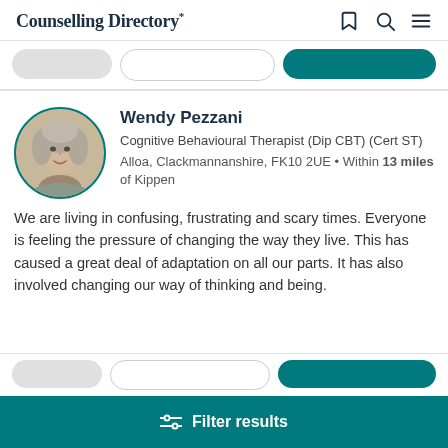Counselling Directory
[Figure (photo): Circular profile photo of Wendy Pezzani, a woman with curly grey/blonde hair, with a teal circular border]
Wendy Pezzani
Cognitive Behavioural Therapist (Dip CBT) (Cert ST)
Alloa, Clackmannanshire, FK10 2UE • Within 13 miles of Kippen
We are living in confusing, frustrating and scary times. Everyone is feeling the pressure of changing the way they live. This has caused a great deal of adaptation on all our parts. It has also involved changing our way of thinking and being.
Filter results